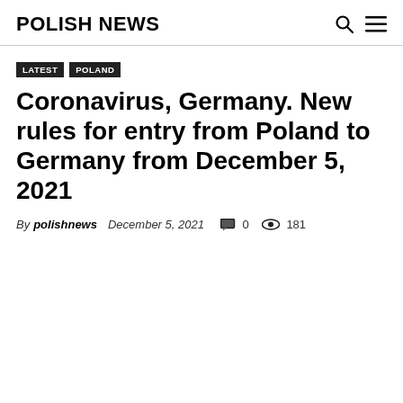POLISH NEWS
LATEST  POLAND
Coronavirus, Germany. New rules for entry from Poland to Germany from December 5, 2021
By polishnews  December 5, 2021  0  181